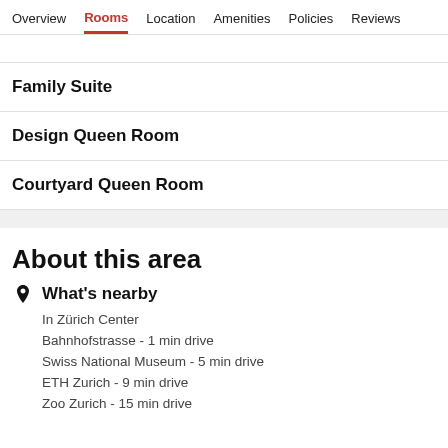Overview  Rooms  Location  Amenities  Policies  Reviews
[partial header text]
Family Suite
Design Queen Room
Courtyard Queen Room
About this area
What's nearby
In Zürich Center
Bahnhofstrasse - 1 min drive
Swiss National Museum - 5 min drive
ETH Zurich - 9 min drive
Zoo Zurich - 15 min drive